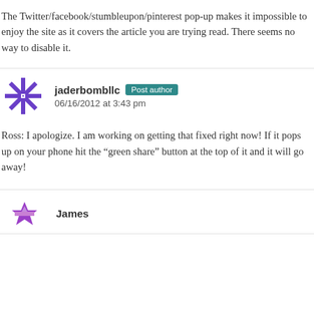The Twitter/facebook/stumbleupon/pinterest pop-up makes it impossible to enjoy the site as it covers the article you are trying read. There seems no way to disable it.
jaderbombllc Post author 06/16/2012 at 3:43 pm
Ross: I apologize. I am working on getting that fixed right now! If it pops up on your phone hit the “green share” button at the top of it and it will go away!
James